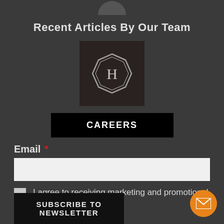[Figure (illustration): Partial dark circle/avatar shape visible at top of page]
Recent Articles By Our Team
[Figure (logo): Dark square logo with an ornate badge/crest containing the letter H in the center]
CAREERS
Email *
I agree to receiving marketing and promotional materials *
SUBSCRIBE TO NEWSLETTER
[Figure (illustration): Orange circular mail/envelope icon button in bottom right corner]